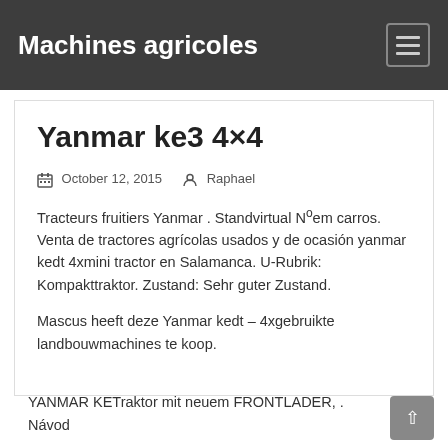Machines agricoles
Yanmar ke3 4×4
October 12, 2015   Raphael
Tracteurs fruitiers Yanmar . Standvirtual Nºem carros. Venta de tractores agrícolas usados y de ocasión yanmar kedt 4xmini tractor en Salamanca. U-Rubrik: Kompakttraktor. Zustand: Sehr guter Zustand.
Mascus heeft deze Yanmar kedt – 4xgebruikte landbouwmachines te koop.
YANMAR KETraktor mit neuem FRONTLADER, . Návod